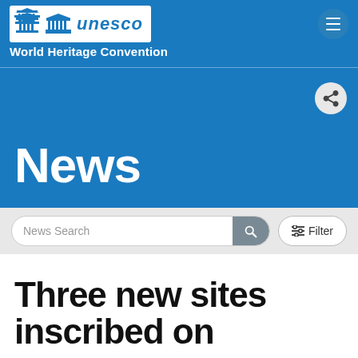unesco | World Heritage Convention
News
News Search | Filter
Three new sites inscribed on